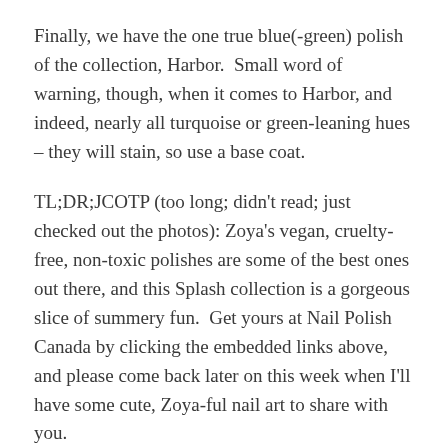Finally, we have the one true blue(-green) polish of the collection, Harbor.  Small word of warning, though, when it comes to Harbor, and indeed, nearly all turquoise or green-leaning hues – they will stain, so use a base coat.
TL;DR;JCOTP (too long; didn't read; just checked out the photos): Zoya's vegan, cruelty-free, non-toxic polishes are some of the best ones out there, and this Splash collection is a gorgeous slice of summery fun.  Get yours at Nail Polish Canada by clicking the embedded links above, and please come back later on this week when I'll have some cute, Zoya-ful nail art to share with you.
Tags: beauty, beauty products, beauty review, cruelty free, manicure, nail lacquer, nail polish, Nail Polish Canada, nails, Splash Collection | 2 Comments